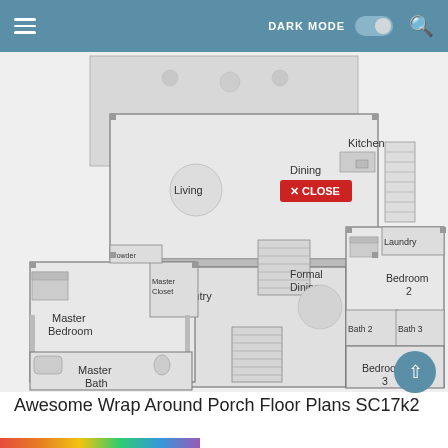DARK MODE [toggle] [search icon]
[Figure (engineering-diagram): House floor plan showing: Kitchen, Living, Dining areas in main open area; Formal Dining with entry; Master Bedroom, Master Closet, Master Bath on left wing; Bedroom 2, Bath 2, Bath 3, Bedroom 3, Laundry on right wing. A red CLOSE button overlays the Dining label.]
Awesome Wrap Around Porch Floor Plans SC17k2